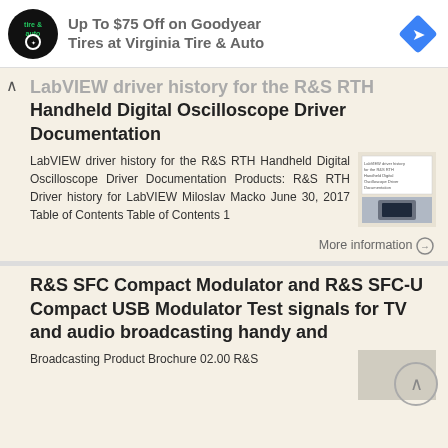[Figure (infographic): Advertisement banner: Up To $75 Off on Goodyear Tires at Virginia Tire & Auto, with circular tire & auto logo and blue diamond navigation icon]
LabVIEW driver history for the R&S RTH Handheld Digital Oscilloscope Driver Documentation
LabVIEW driver history for the R&S RTH Handheld Digital Oscilloscope Driver Documentation Products: R&S RTH Driver history for LabVIEW Miloslav Macko June 30, 2017 Table of Contents Table of Contents 1
More information →
R&S SFC Compact Modulator and R&S SFC-U Compact USB Modulator Test signals for TV and audio broadcasting handy and
Broadcasting Product Brochure 02.00 R&S